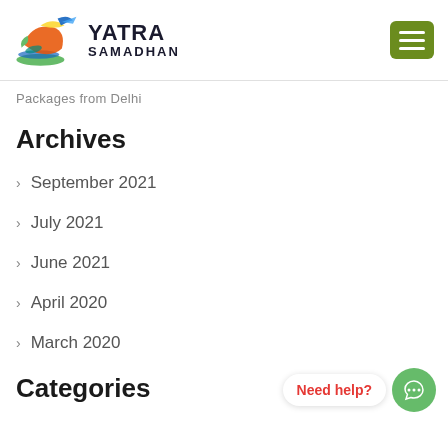[Figure (logo): Yatra Samadhan logo with colorful bird/travel icon and text]
Packages from Delhi
Archives
September 2021
July 2021
June 2021
April 2020
March 2020
Categories
Need help?